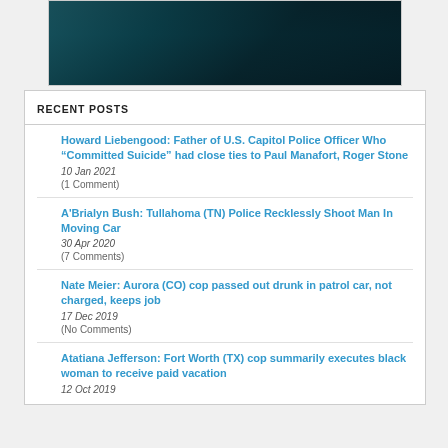[Figure (photo): Dark teal/blue toned image at top of page, appears to be a close-up of metallic or mechanical objects]
RECENT POSTS
Howard Liebengood: Father of U.S. Capitol Police Officer Who “Committed Suicide” had close ties to Paul Manafort, Roger Stone
10 Jan 2021
(1 Comment)
A'Brialyn Bush: Tullahoma (TN) Police Recklessly Shoot Man In Moving Car
30 Apr 2020
(7 Comments)
Nate Meier: Aurora (CO) cop passed out drunk in patrol car, not charged, keeps job
17 Dec 2019
(No Comments)
Atatiana Jefferson: Fort Worth (TX) cop summarily executes black woman to receive paid vacation
12 Oct 2019